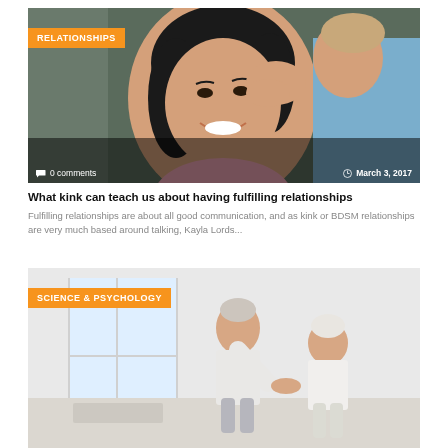[Figure (photo): A man whispering into a woman's ear; woman smiling, dark hair, against a grey-green background]
RELATIONSHIPS
0 comments   March 3, 2017
What kink can teach us about having fulfilling relationships
Fulfilling relationships are about all good communication, and as kink or BDSM relationships are very much based around talking, Kayla Lords...
[Figure (photo): An older couple in a bright room, holding hands and appearing to dance or exercise together]
SCIENCE & PSYCHOLOGY